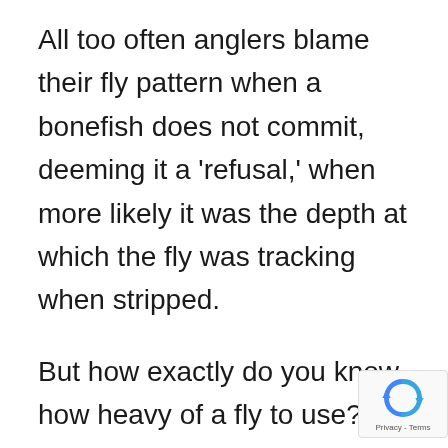All too often anglers blame their fly pattern when a bonefish does not commit, deeming it a 'refusal,' when more likely it was the depth at which the fly was tracking when stripped.
But how exactly do you know how heavy of a fly to use? Long time Andros South guest, Wayne Walts, recently shared a simple formula he uses on a regular basis for selecting flies for the depth of the wate hand. We think it's pretty spot-on, so today
[Figure (logo): reCAPTCHA badge with rotating arrows icon and Privacy - Terms text]